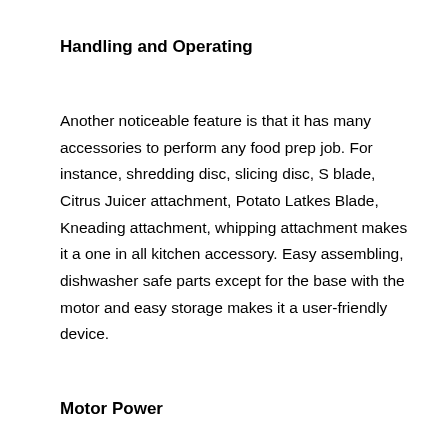Handling and Operating
Another noticeable feature is that it has many accessories to perform any food prep job. For instance, shredding disc, slicing disc, S blade, Citrus Juicer attachment, Potato Latkes Blade, Kneading attachment, whipping attachment makes it a one in all kitchen accessory. Easy assembling, dishwasher safe parts except for the base with the motor and easy storage makes it a user-friendly device.
Motor Power